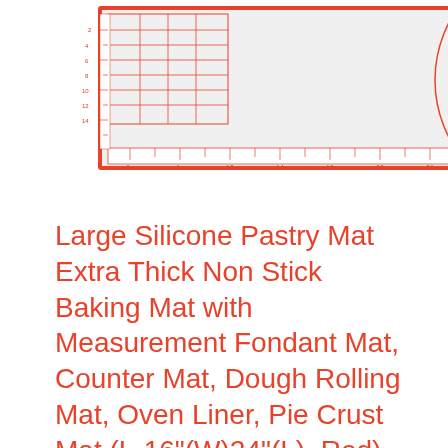[Figure (photo): Product photo of a large silicone pastry mat with red measurement markings, circles, and rulers printed on it, partially rolled up on the right showing a rolling pin or similar cylindrical tool, on a white background.]
Large Silicone Pastry Mat Extra Thick Non Stick Baking Mat with Measurement Fondant Mat, Counter Mat, Dough Rolling Mat, Oven Liner, Pie Crust Mat (L-16"(W)24"(L), Red)